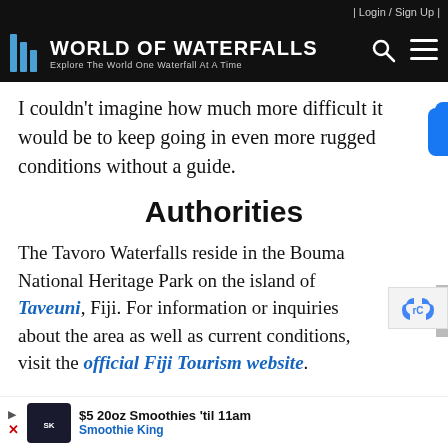| Login / Sign Up |
[Figure (logo): World of Waterfalls logo with blue waterfall icon and tagline: Explore The World One Waterfall At A Time]
[Figure (infographic): Social media icon bar: Facebook, Twitter, Instagram, Pinterest, YouTube, RSS]
I couldn't imagine how much more difficult it would be to keep going in even more rugged conditions without a guide.
Authorities
The Tavoro Waterfalls reside in the Bouma National Heritage Park on the island of Taveuni, Fiji. For information or inquiries about the area as well as current conditions, visit the official Fiji Tourism website.
[Figure (infographic): Scroll to top button (grey arrow up)]
[Figure (infographic): reCAPTCHA widget]
$5 20oz Smoothies 'til 11am  Smoothie King